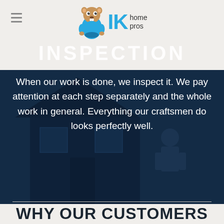[Figure (logo): IK Home Pros logo with beaver mascot on left and IK text with 'home pros' on right]
INSPECTION
When our work is done, we inspect it. We pay attention at each step separately and the whole work in general. Everything our craftsmen do looks perfectly well.
WHY OUR CUSTOMERS CHOOSE US?